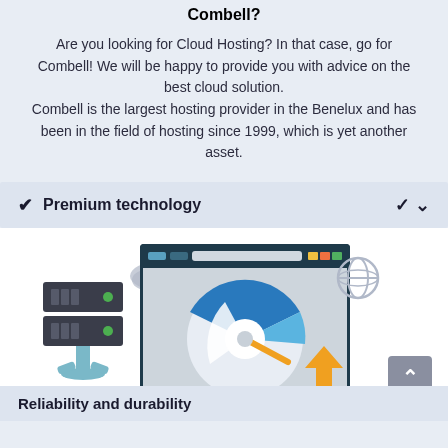Combell?
Are you looking for Cloud Hosting? In that case, go for Combell! We will be happy to provide you with advice on the best cloud solution. Combell is the largest hosting provider in the Benelux and has been in the field of hosting since 1999, which is yet another asset.
✔ Premium technology
[Figure (illustration): Illustration showing a server rack with green indicator lights, a browser window displaying a speedometer/gauge chart in blue and orange, a globe icon, an orange download arrow, and a grey scroll-to-top button.]
Reliability and durability